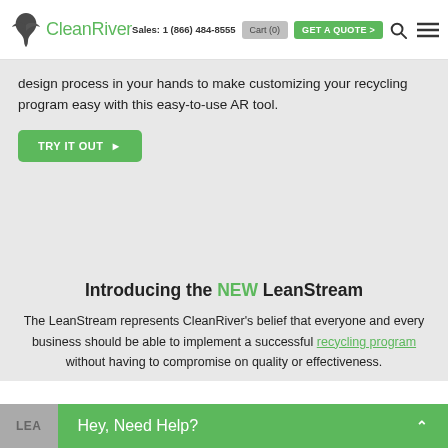Sales: 1 (866) 484-8555  Cart (0)  GET A QUOTE >
[Figure (logo): CleanRiver logo with green bird icon and green text]
design process in your hands to make customizing your recycling program easy with this easy-to-use AR tool.
TRY IT OUT ▶
Introducing the NEW LeanStream
The LeanStream represents CleanRiver's belief that everyone and every business should be able to implement a successful recycling program without having to compromise on quality or effectiveness.
Hey, Need Help?